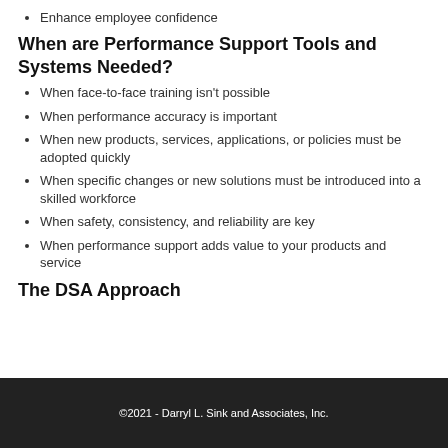Enhance employee confidence
When are Performance Support Tools and Systems Needed?
When face-to-face training isn't possible
When performance accuracy is important
When new products, services, applications, or policies must be adopted quickly
When specific changes or new solutions must be introduced into a skilled workforce
When safety, consistency, and reliability are key
When performance support adds value to your products and service
The DSA Approach
©2021 - Darryl L. Sink and Associates, Inc.